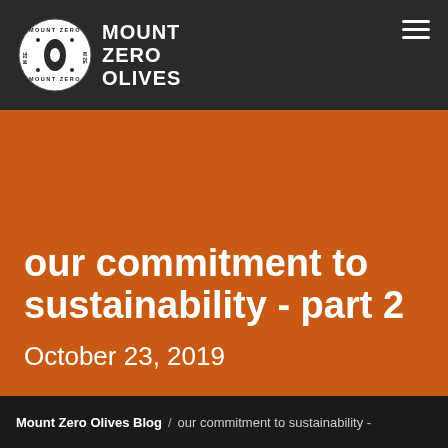MOUNT ZERO OLIVES
our commitment to sustainability - part 2
October 23, 2019
Mount Zero Olives Blog / our commitment to sustainability -